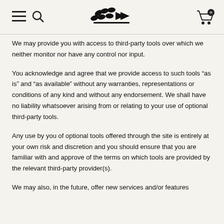Navigation header with menu, search, logo, and cart icons
We may provide you with access to third-party tools over which we neither monitor nor have any control nor input.
You acknowledge and agree that we provide access to such tools “as is” and “as available” without any warranties, representations or conditions of any kind and without any endorsement. We shall have no liability whatsoever arising from or relating to your use of optional third-party tools.
Any use by you of optional tools offered through the site is entirely at your own risk and discretion and you should ensure that you are familiar with and approve of the terms on which tools are provided by the relevant third-party provider(s).
We may also, in the future, offer new services and/or features